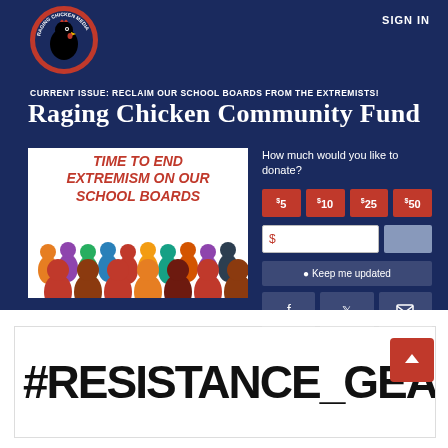SIGN IN
CURRENT ISSUE: RECLAIM OUR SCHOOL BOARDS FROM THE EXTREMISTS!
Raging Chicken Community Fund
[Figure (illustration): Crowd of diverse people silhouettes in various colors with text TIME TO END EXTREMISM ON OUR SCHOOL BOARDS]
How much would you like to donate?
Donation buttons: $5, $10, $25, $50 and custom input field
Keep me updated
Social share buttons: Facebook, Twitter, Email
[Figure (illustration): #RESISTANCE_GEAR text in large bold distressed font with red scroll-to-top button]